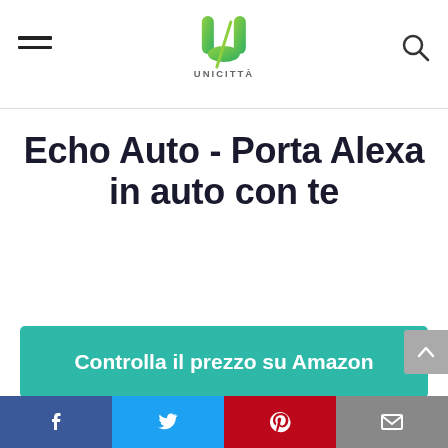UNICITTÀ
Echo Auto - Porta Alexa in auto con te
Controlla il prezzo su Amazon
Amazon.it
Features